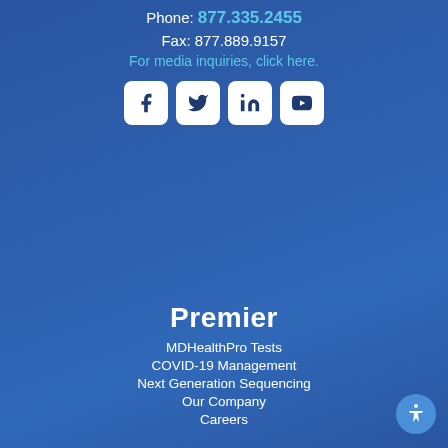Phone: 877.335.2455
Fax: 877.889.9157
For media inquiries, click here.
[Figure (illustration): Social media icons: Facebook, Twitter, LinkedIn, YouTube — white rounded square buttons on blue background]
Premier
MDHealthPro Tests
COVID-19 Management
Next Generation Sequencing
Our Company
Careers